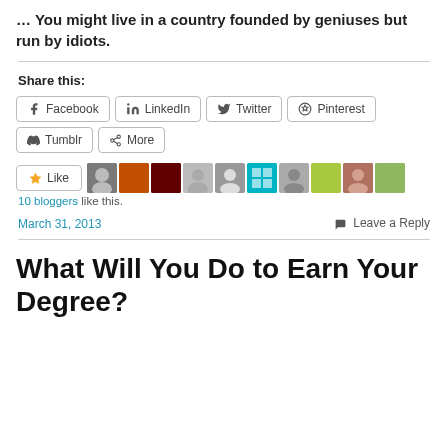… You might live in a country founded by geniuses but run by idiots.
Share this:
[Figure (infographic): Social share buttons: Facebook, LinkedIn, Twitter, Pinterest, Tumblr, More]
[Figure (infographic): Like button with 10 blogger avatars]
10 bloggers like this.
March 31, 2013   Leave a Reply
What Will You Do to Earn Your Degree?